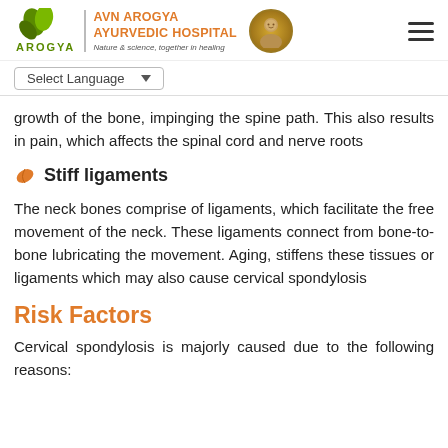AVN AROGYA AYURVEDIC HOSPITAL — Nature & science, together in healing
Select Language
growth of the bone, impinging the spine path. This also results in pain, which affects the spinal cord and nerve roots
Stiff ligaments
The neck bones comprise of ligaments, which facilitate the free movement of the neck. These ligaments connect from bone-to-bone lubricating the movement. Aging, stiffens these tissues or ligaments which may also cause cervical spondylosis
Risk Factors
Cervical spondylosis is majorly caused due to the following reasons: